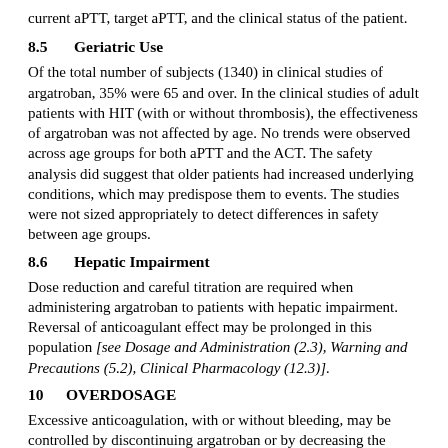current aPTT, target aPTT, and the clinical status of the patient.
8.5    Geriatric Use
Of the total number of subjects (1340) in clinical studies of argatroban, 35% were 65 and over. In the clinical studies of adult patients with HIT (with or without thrombosis), the effectiveness of argatroban was not affected by age. No trends were observed across age groups for both aPTT and the ACT. The safety analysis did suggest that older patients had increased underlying conditions, which may predispose them to events. The studies were not sized appropriately to detect differences in safety between age groups.
8.6    Hepatic Impairment
Dose reduction and careful titration are required when administering argatroban to patients with hepatic impairment. Reversal of anticoagulant effect may be prolonged in this population [see Dosage and Administration (2.3), Warning and Precautions (5.2), Clinical Pharmacology (12.3)].
10    OVERDOSAGE
Excessive anticoagulation, with or without bleeding, may be controlled by discontinuing argatroban or by decreasing the